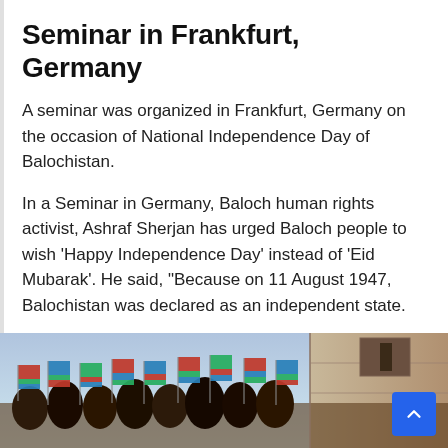Seminar in Frankfurt, Germany
A seminar was organized in Frankfurt, Germany on the occasion of National Independence Day of Balochistan.
In a Seminar in Germany, Baloch human rights activist, Ashraf Sherjan has urged Baloch people to wish ‘Happy Independence Day’ instead of ‘Eid Mubarak’. He said, “Because on 11 August 1947, Balochistan was declared as an independent state.
[Figure (photo): Crowd of people waving Balochistan flags (red, green, and blue tricolor with a crescent) at an outdoor gathering, with a building wall visible in the background.]